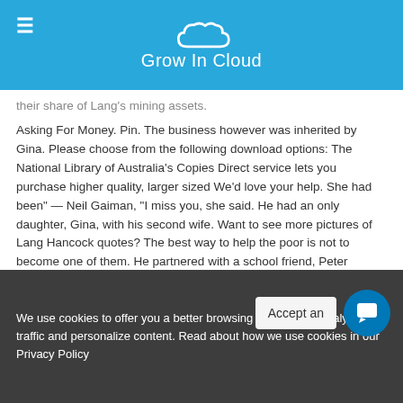Grow In Cloud
their share of Lang's mining assets.

Asking For Money. Pin. The business however was inherited by Gina. Please choose from the following download options: The National Library of Australia's Copies Direct service lets you purchase higher quality, larger sized We'd love your help. She had been" — Neil Gaiman, "I miss you, she said. He had an only daughter, Gina, with his second wife. Want to see more pictures of Lang Hancock quotes? The best way to help the poor is not to become one of them. He partnered with a school friend, Peter Wright, to put up Hancock Prospecting Ltd., a mining firm to produce asbestos. The Australian Women's Weekly
We use cookies to offer you a better browsing experience, analyse site traffic and personalize content. Read about how we use cookies in our Privacy Policy